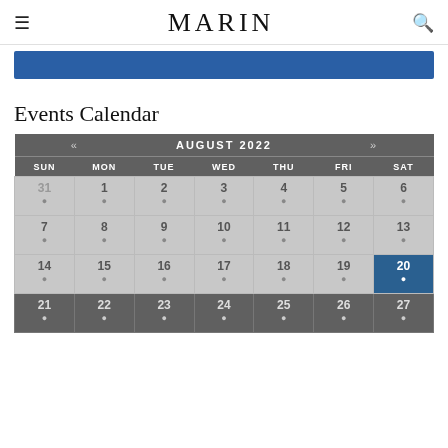MARIN
[Figure (other): Blue banner/advertisement bar]
Events Calendar
| SUN | MON | TUE | WED | THU | FRI | SAT |
| --- | --- | --- | --- | --- | --- | --- |
| 31 | 1 | 2 | 3 | 4 | 5 | 6 |
| 7 | 8 | 9 | 10 | 11 | 12 | 13 |
| 14 | 15 | 16 | 17 | 18 | 19 | 20 |
| 21 | 22 | 23 | 24 | 25 | 26 | 27 |